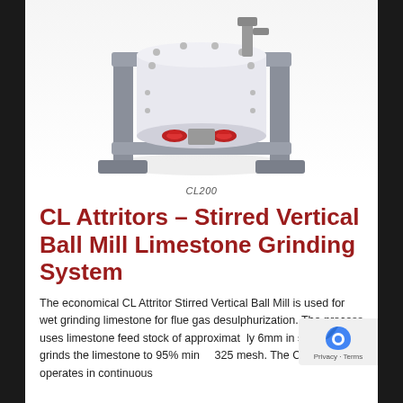[Figure (photo): Industrial CL Attritor Stirred Vertical Ball Mill machine, grey metal frame with white cylindrical grinding vessel, red valve fittings, mounted on a heavy frame base]
CL200
CL Attritors – Stirred Vertical Ball Mill Limestone Grinding System
The economical CL Attritor Stirred Vertical Ball Mill is used for wet grinding limestone for flue gas desulphurization. The process uses limestone feed stock of approximately 6mm in size and wet grinds the limestone to 95% minus 325 mesh. The CL Attritor operates in continuous mode...